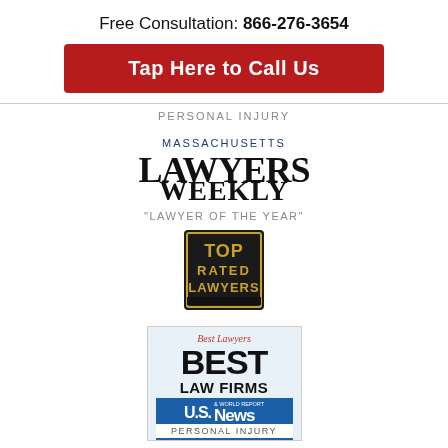Free Consultation: 866-276-3654
Tap Here to Call Us
PERSONAL INJURY
[Figure (logo): Massachusetts Lawyers Weekly logo with serif masthead]
"LAWYER OF THE YEAR"
[Figure (logo): Top Rated Lawyers badge: black square with gold text TOP RATED LAWYERS]
[Figure (logo): Best Lawyers Best Law Firms badge with U.S. News & World Report banner, Personal Injury category]